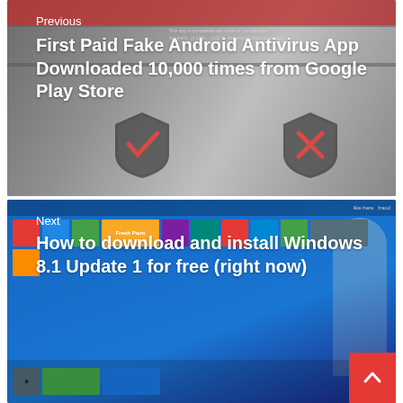[Figure (screenshot): Screenshot of an Android antivirus app page on Google Play Store, showing shield icons with checkmark and X]
Previous
First Paid Fake Android Antivirus App Downloaded 10,000 times from Google Play Store
[Figure (screenshot): Screenshot of Windows 8.1 Start Screen with colorful tiles and a hand/figure on the right]
Next
How to download and install Windows 8.1 Update 1 for free (right now)